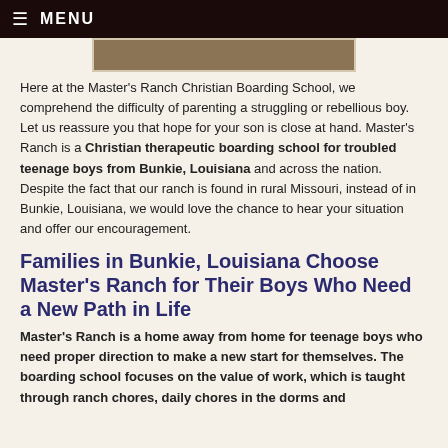≡ MENU
[Figure (photo): Partial image strip showing a brown/tan textured background, likely a ranch or outdoor scene]
Here at the Master's Ranch Christian Boarding School, we comprehend the difficulty of parenting a struggling or rebellious boy. Let us reassure you that hope for your son is close at hand. Master's Ranch is a Christian therapeutic boarding school for troubled teenage boys from Bunkie, Louisiana and across the nation. Despite the fact that our ranch is found in rural Missouri, instead of in Bunkie, Louisiana, we would love the chance to hear your situation and offer our encouragement.
Families in Bunkie, Louisiana Choose Master's Ranch for Their Boys Who Need a New Path in Life
Master's Ranch is a home away from home for teenage boys who need proper direction to make a new start for themselves. The boarding school focuses on the value of work, which is taught through ranch chores, daily chores in the dorms and